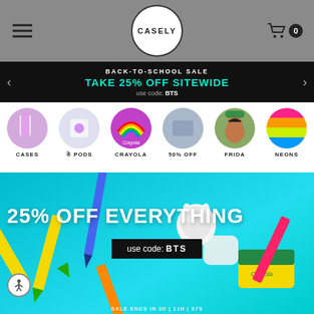[Figure (screenshot): Website header with hamburger menu, Casely logo circle, and cart icon with badge showing 0]
BACK-TO-SCHOOL SALE
TAKE 25% OFF SITEWIDE
use code: BTS
[Figure (infographic): Six circular category icons: CASES, PODS, CRAYOLA, 50% OFF, FRIDA, NEONS]
[Figure (photo): Hero banner with cyan background showing crayons, airpods, and Crayola branded items. Text: 25% OFF EVERYTHING, use code: BTS. Bottom partial text: SALE ENDS IN 3D | 11H | 37S]